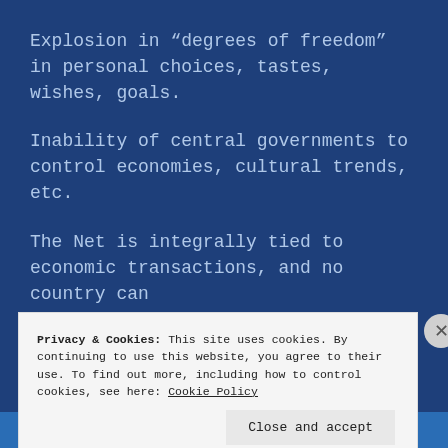Explosion in “degrees of freedom” in personal choices, tastes, wishes, goals.
Inability of central governments to control economies, cultural trends, etc.
The Net is integrally tied to economic transactions, and no country can
Privacy & Cookies: This site uses cookies. By continuing to use this website, you agree to their use. To find out more, including how to control cookies, see here: Cookie Policy
Close and accept